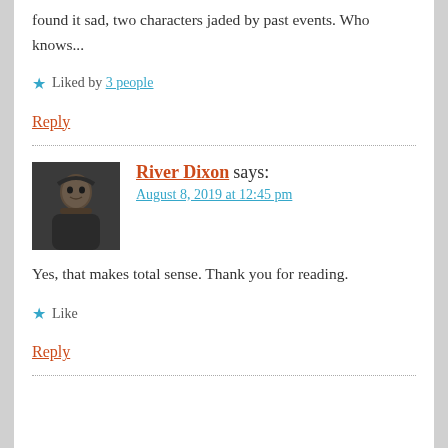found it sad, two characters jaded by past events. Who knows...
Liked by 3 people
Reply
River Dixon says:
August 8, 2019 at 12:45 pm
Yes, that makes total sense. Thank you for reading.
Like
Reply